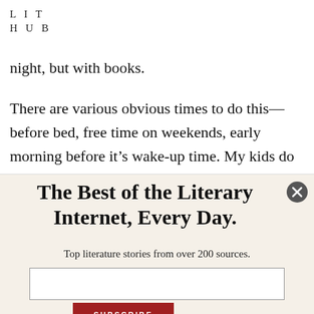LIT
HUB
night, but with books.
There are various obvious times to do this—before bed, free time on weekends, early morning before it's wake-up time. My kids do a lot of their reading at breakfast (our family rule is you can read at breakfast and lunch but not
The Best of the Literary Internet, Every Day.
Top literature stories from over 200 sources.
[Figure (other): Email subscription input field and subscribe button on a newsletter popup overlay]